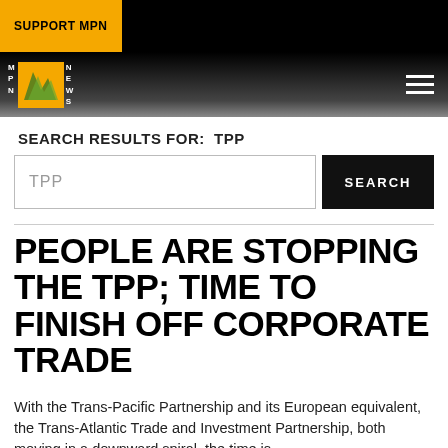SUPPORT MPN
[Figure (logo): MPN News logo with orange leaf icon]
SEARCH RESULTS FOR: TPP
TPP
PEOPLE ARE STOPPING THE TPP; TIME TO FINISH OFF CORPORATE TRADE
With the Trans-Pacific Partnership and its European equivalent, the Trans-Atlantic Trade and Investment Partnership, both moving in a downward spiral, the time is